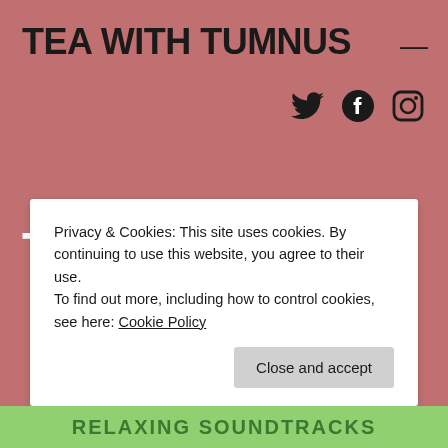TEA WITH TUMNUS
[Figure (other): Social media icons: Twitter bird, Facebook circle, Instagram camera]
Tag: music
Privacy & Cookies: This site uses cookies. By continuing to use this website, you agree to their use.
To find out more, including how to control cookies, see here: Cookie Policy
Close and accept
RELAXING SOUNDTRACKS